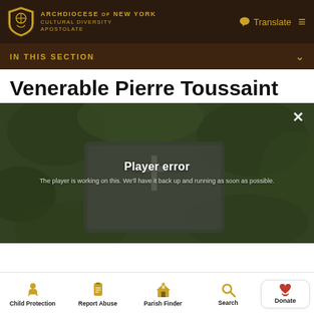ARCHDIOCESE OF NEW YORK CULTURAL DIVERSITY APOSTOLATE
IN THIS SECTION
Venerable Pierre Toussaint
[Figure (screenshot): Video player showing a gravestone marker with a cross, surrounded by green foliage. A 'Player error' overlay message reads: 'The player is working on this. We'll have it back up and running as soon as possible.' A close (X) button is visible in the top-right corner.]
Child Protection  Report Abuse  Parish Finder  Search  Donate